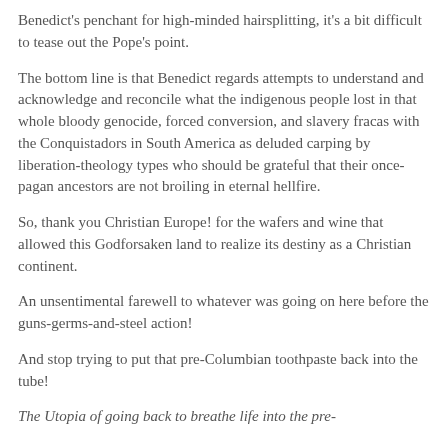Benedict's penchant for high-minded hairsplitting, it's a bit difficult to tease out the Pope's point.
The bottom line is that Benedict regards attempts to understand and acknowledge and reconcile what the indigenous people lost in that whole bloody genocide, forced conversion, and slavery fracas with the Conquistadors in South America as deluded carping by liberation-theology types who should be grateful that their once-pagan ancestors are not broiling in eternal hellfire.
So, thank you Christian Europe! for the wafers and wine that allowed this Godforsaken land to realize its destiny as a Christian continent.
An unsentimental farewell to whatever was going on here before the guns-germs-and-steel action!
And stop trying to put that pre-Columbian toothpaste back into the tube!
The Utopia of going back to breathe life into the pre-